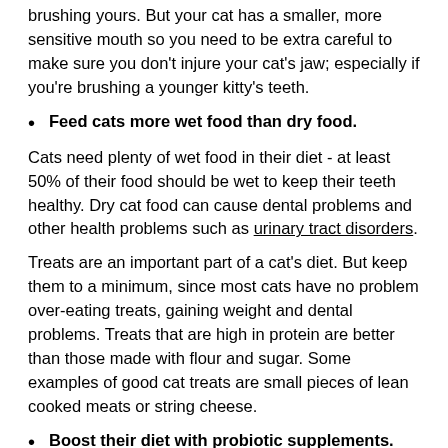brushing yours. But your cat has a smaller, more sensitive mouth so you need to be extra careful to make sure you don't injure your cat's jaw; especially if you're brushing a younger kitty's teeth.
Feed cats more wet food than dry food.
Cats need plenty of wet food in their diet - at least 50% of their food should be wet to keep their teeth healthy. Dry cat food can cause dental problems and other health problems such as urinary tract disorders.
Treats are an important part of a cat's diet. But keep them to a minimum, since most cats have no problem over-eating treats, gaining weight and dental problems. Treats that are high in protein are better than those made with flour and sugar. Some examples of good cat treats are small pieces of lean cooked meats or string cheese.
Boost their diet with probiotic supplements.
One of the best ways to reduce the risk of dental problems is by giving your cat a probiotic supplement. Probiotics are great for